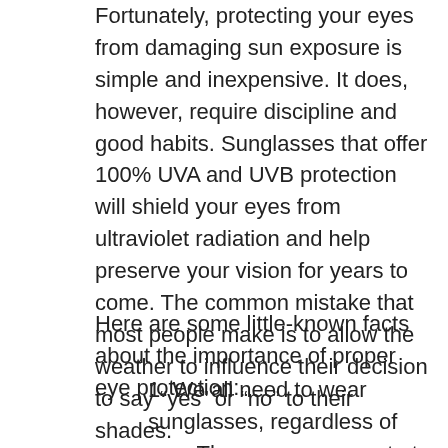Fortunately, protecting your eyes from damaging sun exposure is simple and inexpensive. It does, however, require discipline and good habits. Sunglasses that offer 100% UVA and UVB protection will shield your eyes from ultraviolet radiation and help preserve your vision for years to come. The common mistake that most people make is to allow the weather to influence their decision to say “yes” or “no” to their shades.
Here are some little-known facts about the importance of proper eye protection:
1. We all need to wear sunglasses, regardless of age. The age group most at risk for eye damage is children since few of them wear sunglasses, and sun